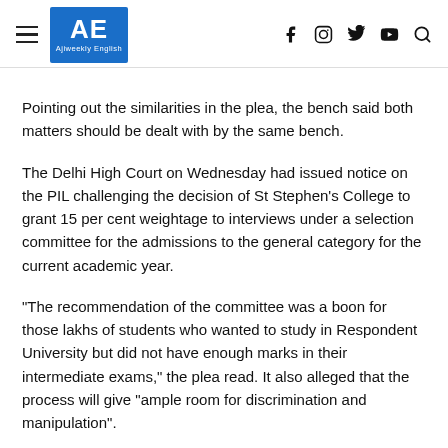AE Ajiweekly English
Pointing out the similarities in the plea, the bench said both matters should be dealt with by the same bench.
The Delhi High Court on Wednesday had issued notice on the PIL challenging the decision of St Stephen’s College to grant 15 per cent weightage to interviews under a selection committee for the admissions to the general category for the current academic year.
“The recommendation of the committee was a boon for those lakhs of students who wanted to study in Respondent University but did not have enough marks in their intermediate exams,” the plea read. It also alleged that the process will give “ample room for discrimination and manipulation”.
The prospectus issued by St Stephen’s for admissions 2022